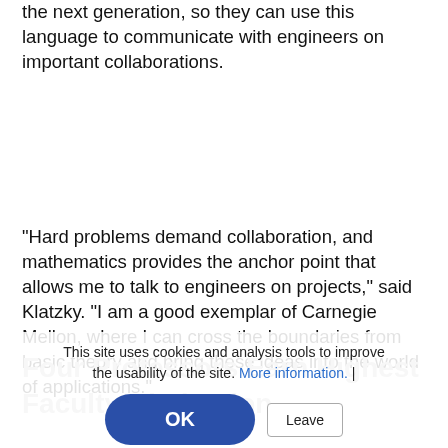the next generation, so they can use this language to communicate with engineers on important collaborations.
"Hard problems demand collaboration, and mathematics provides the anchor point that allows me to talk to engineers on projects," said Klatzky. "I am a good exemplar of Carnegie Mellon, where I can cross the boundaries from basic theory and bring these ideas into the world of applications."
This site uses cookies and analysis tools to improve the usability of the site. More information. |